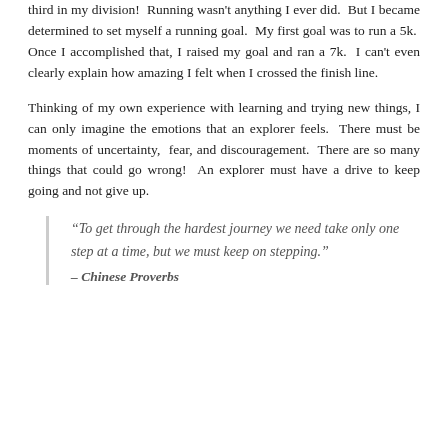third in my division!  Running wasn't anything I ever did.  But I became determined to set myself a running goal.  My first goal was to run a 5k.  Once I accomplished that, I raised my goal and ran a 7k.  I can't even clearly explain how amazing I felt when I crossed the finish line.
Thinking of my own experience with learning and trying new things, I can only imagine the emotions that an explorer feels.  There must be moments of uncertainty,  fear, and discouragement.  There are so many things that could go wrong!  An explorer must have a drive to keep going and not give up.
“To get through the hardest journey we need take only one step at a time, but we must keep on stepping.” – Chinese Proverbs